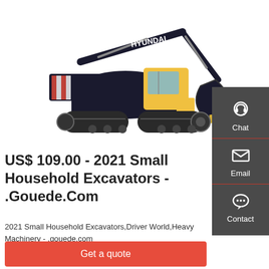[Figure (photo): Hyundai large crawler excavator with yellow cab and dark blue/black body, shown in profile on white background.]
US$ 109.00 - 2021 Small Household Excavators - .Gouede.Com
2021 Small Household Excavators,Driver World,Heavy Machinery - .gouede.com
Get a quote